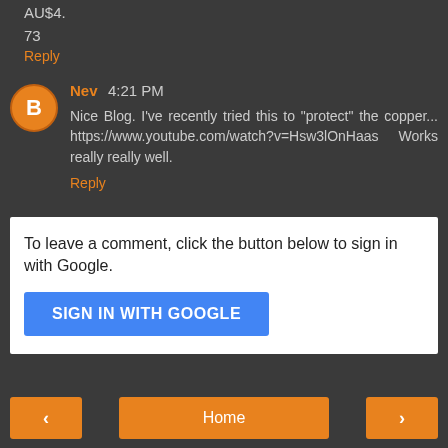AU$4.
73
Reply
Nev  4:21 PM
Nice Blog. I've recently tried this to "protect" the copper... https://www.youtube.com/watch?v=Hsw3lOnHaas   Works really really well.
Reply
To leave a comment, click the button below to sign in with Google.
SIGN IN WITH GOOGLE
< Home >